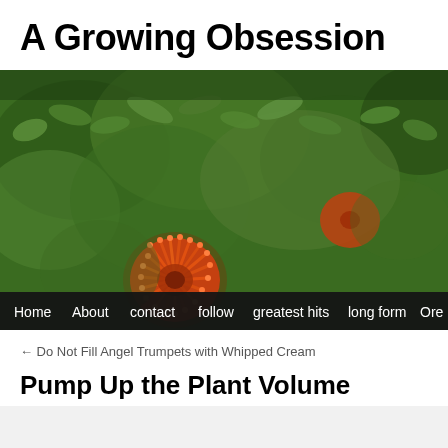A Growing Obsession
[Figure (photo): Close-up photograph of orange pincushion protea flowers (Leucospermum) against a blurred green foliage background. Navigation bar at bottom with menu items: Home, About, contact, follow, greatest hits, long form, Ore...]
← Do Not Fill Angel Trumpets with Whipped Cream
Pump Up the Plant Volume